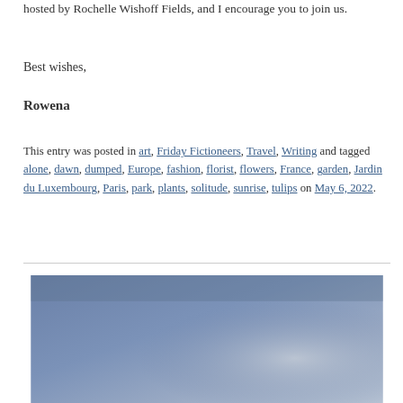hosted by Rochelle Wishoff Fields, and I encourage you to join us.
Best wishes,
Rowena
This entry was posted in art, Friday Fictioneers, Travel, Writing and tagged alone, dawn, dumped, Europe, fashion, florist, flowers, France, garden, Jardin du Luxembourg, Paris, park, plants, solitude, sunrise, tulips on May 6, 2022.
[Figure (photo): A photo showing a blue-grey sky with some lighter cloud or haze, likely an outdoor dawn scene]